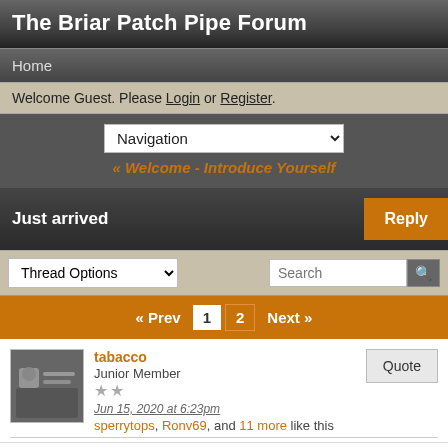The Briar Patch Pipe Forum
Home
Welcome Guest. Please Login or Register.
Navigation
« Welcome - Introduce Yourself
Just arrived
Thread Options
« Prev  1  2  Next »
tabacco
Junior Member
Jun 15, 2020 at 6:23pm
sperrytops, Ronv69, and 11 more like this
Good afternoon.

Long time slow-smoker. I smoke mainly straight Virginia or Virginia with some additions of Burley, Kentucky, or Orientals. When I am in the mood I can enjoy some Perique or even Latakia.